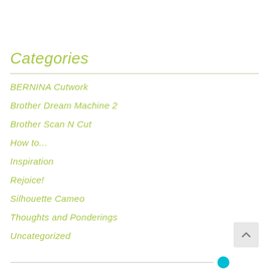Categories
BERNINA Cutwork
Brother Dream Machine 2
Brother Scan N Cut
How to...
Inspiration
Rejoice!
Silhouette Cameo
Thoughts and Ponderings
Uncategorized